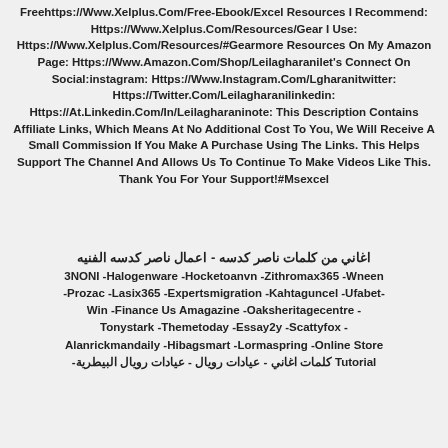Freehttps://Www.Xelplus.Com/Free-Ebook/Excel Resources I Recommend: Https://Www.Xelplus.Com/Resources/Gear I Use: Https://Www.Xelplus.Com/Resources/#Gearmore Resources On My Amazon Page: Https://Www.Amazon.Com/Shop/Leilagharanilet's Connect On Social:instagram: Https://Www.Instagram.Com/Lgharanitwitter: Https://Twitter.Com/Leilagharanilinkedin: Https://At.Linkedin.Com/In/Leilagharaninote: This Description Contains Affiliate Links, Which Means At No Additional Cost To You, We Will Receive A Small Commission If You Make A Purchase Using The Links. This Helps Support The Channel And Allows Us To Continue To Make Videos Like This. Thank You For Your Support!#Msexcel
اغاني من كلمات ناصر كدسه - اعمال ناصر كدسه الفنيه 3NONI -Halogenware -Hocketoanvn -Zithromax365 -Wneen -Prozac -Lasix365 -Expertsmigration -Kahtaguncel -Ufabet-Win -Finance Us Amagazine -Oaksheritagecentre -Tonystark -Themetoday -Essay2y -Scattyfox -Alanrickmandaily -Hibagsmart -Lormaspring -Online Store Tutorial - كلمات اغاني - عيادات رويال - عيادات رويال البيطرية